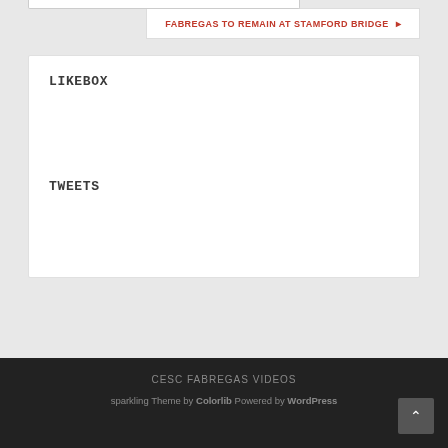FABREGAS TO REMAIN AT STAMFORD BRIDGE ›
LIKEBOX
TWEETS
CESC FABREGAS VIDEOS
sparkling Theme by Colorlib Powered by WordPress